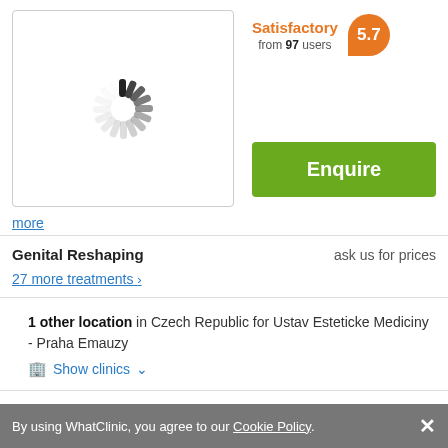[Figure (illustration): Loading spinner animation - circular array of dark dashes on white background]
Satisfactory
from 97 users
5.7
Enquire
more
Genital Reshaping	ask us for prices
27 more treatments >
1 other location in Czech Republic for Ustav Esteticke Mediciny - Praha Emauzy
Show clinics
By using WhatClinic, you agree to our Cookie Policy.